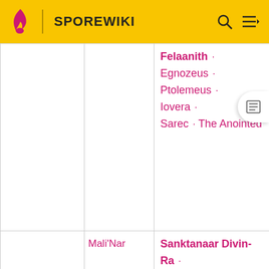SPOREWIKI
|  |  | Felaanith · Egnozeus · Ptolemeus · Iovera · Sarec · The Anointed |
|  | Mali'Nar | Sanktanaar Divin-Ra · The Dark Purger · Mistress Isperiona · Master Br'klakkon · Legion of Badmanz · Kelipoth |